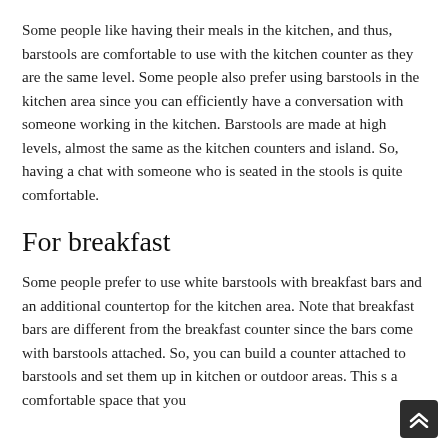Some people like having their meals in the kitchen, and thus, barstools are comfortable to use with the kitchen counter as they are the same level. Some people also prefer using barstools in the kitchen area since you can efficiently have a conversation with someone working in the kitchen. Barstools are made at high levels, almost the same as the kitchen counters and island. So, having a chat with someone who is seated in the stools is quite comfortable.
For breakfast
Some people prefer to use white barstools with breakfast bars and an additional countertop for the kitchen area. Note that breakfast bars are different from the breakfast counter since the bars come with barstools attached. So, you can build a counter attached to barstools and set them up in kitchen or outdoor areas. This s a comfortable space that you